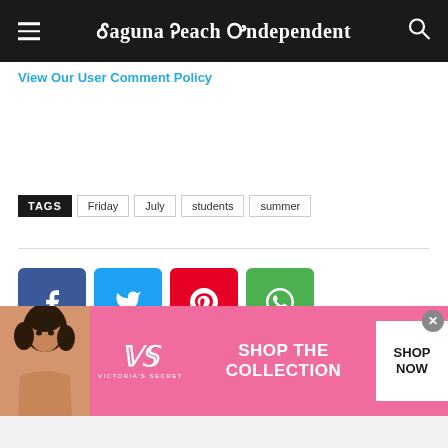Laguna Beach Independent
View Our User Comment Policy
TAGS  Friday  July  students  summer
[Figure (infographic): Social share buttons: Facebook (blue), Twitter (light blue), Pinterest (red), WhatsApp (green)]
[Figure (infographic): Victoria's Secret advertisement banner with model, VS logo, 'SHOP THE COLLECTION' text and 'SHOP NOW' button]